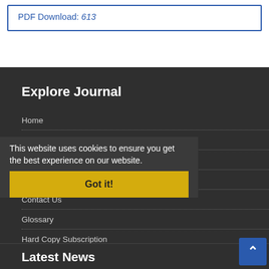PDF Download: 613
Explore Journal
Home
About Journal
Editorial Board
Submit Manuscript
Contact Us
Glossary
Hard Copy Subscription
Sitemap
This website uses cookies to ensure you get the best experience on our website.
Got it!
Latest News